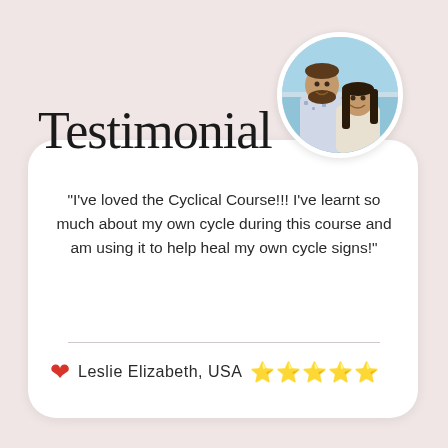Testimonial
[Figure (photo): Circular profile photo of a couple (man with beard and woman) at a beach]
"I've loved the Cyclical Course!!! I've learnt so much about my own cycle during this course and am using it to help heal my own cycle signs!"
Leslie Elizabeth, USA ⭐⭐⭐⭐⭐